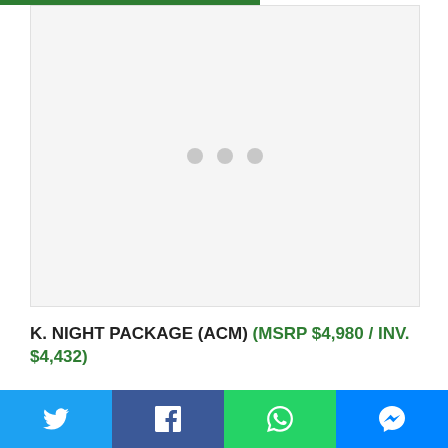[Figure (photo): Loading image placeholder with three gray dots centered on a light gray background]
K. NIGHT PACKAGE (ACM) (MSRP $4,980 / INV. $4,432)
(late availability, production starts May 9, 2016)
Social share bar: Twitter, Facebook, WhatsApp, Messenger